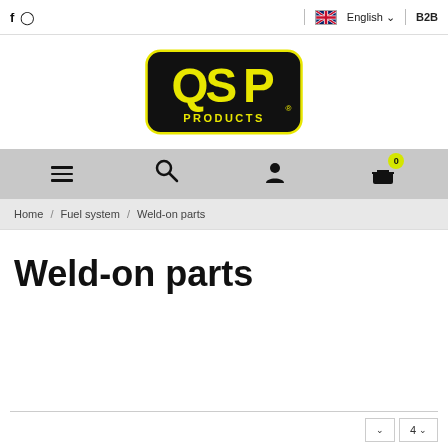f  Instagram  |  English  B2B
[Figure (logo): QSP Products logo — black rounded rectangle with yellow bold letters QSP and PRODUCTS below]
[Figure (infographic): Navigation bar with hamburger menu icon, search icon, user/account icon, and shopping cart icon with badge showing 0]
Home / Fuel system / Weld-on parts
Weld-on parts